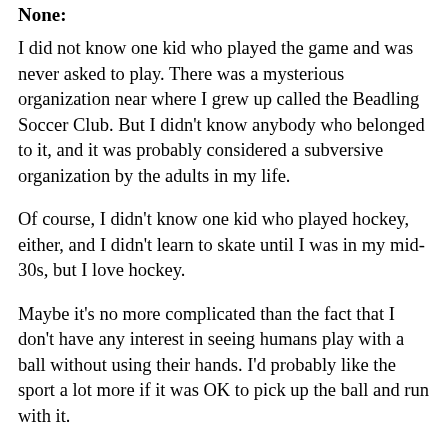None:
I did not know one kid who played the game and was never asked to play. There was a mysterious organization near where I grew up called the Beadling Soccer Club. But I didn't know anybody who belonged to it, and it was probably considered a subversive organization by the adults in my life.
Of course, I didn't know one kid who played hockey, either, and I didn't learn to skate until I was in my mid-30s, but I love hockey.
Maybe it's no more complicated than the fact that I don't have any interest in seeing humans play with a ball without using their hands. I'd probably like the sport a lot more if it was OK to pick up the ball and run with it.
I never played rugby, but I enjoy watching it every once in a while.
The best description I've come across for soccer was in a piece written in 2009 by Wabash College philosophy professor Stephen H. Webb, who wrote, “Think of two posses pursuing their prey in opposite directions without bullets in their guns.”
Webb also struck a chord with me when he compared soccer to baseball. He feels, as do I, that soccer is taking the place of baseball for lots of kids because it's so much easier to join a group of kids and play ball, and that is a bad development.